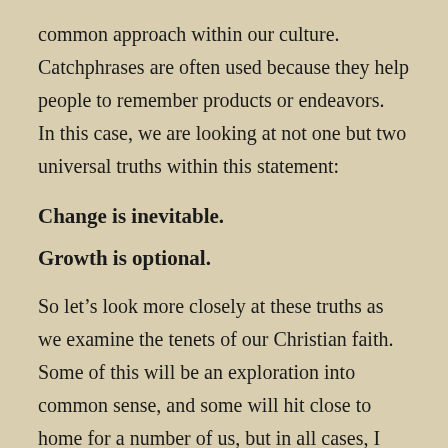common approach within our culture.  Catchphrases are often used because they help people to remember products or endeavors.  In this case, we are looking at not one but two universal truths within this statement:
Change is inevitable.
Growth is optional.
So let’s look more closely at these truths as we examine the tenets of our Christian faith.  Some of this will be an exploration into common sense, and some will hit close to home for a number of us, but in all cases, I want you to consider the premise of how